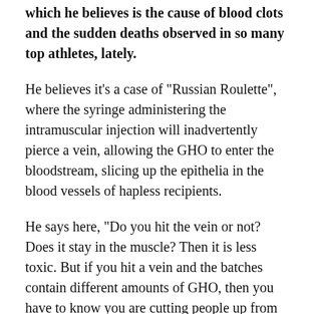which he believes is the cause of blood clots and the sudden deaths observed in so many top athletes, lately.
He believes it's a case of "Russian Roulette", where the syringe administering the intramuscular injection will inadvertently pierce a vein, allowing the GHO to enter the bloodstream, slicing up the epithelia in the blood vessels of hapless recipients.
He says here, "Do you hit the vein or not? Does it stay in the muscle? Then it is less toxic. But if you hit a vein and the batches contain different amounts of GHO, then you have to know you are cutting people up from the inside."